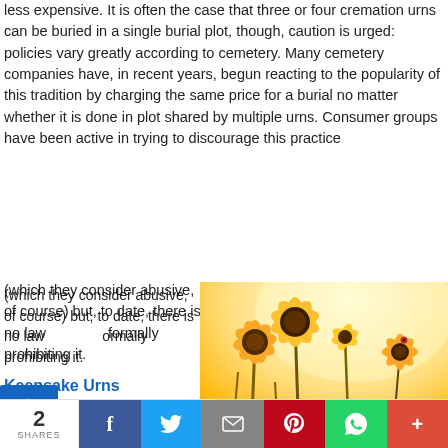less expensive. It is often the case that three or four cremation urns can be buried in a single burial plot, though, caution is urged: policies vary greatly according to cemetery. Many cemetery companies have, in recent years, begun reacting to the popularity of this tradition by charging the same price for a burial no matter whether it is done in plot shared by multiple urns. Consumer groups have been active in trying to discourage this practice (which they consider abusive, of course) but, to date, there is no law formally prohibiting it.
[Figure (photo): Photo of yellow daisy-like wildflowers in a warm golden-lit field, low angle looking up at the flowers against a bright sky.]
Keepsake Urns
Families wanting the most flexibility in their cremation traditions are, these days, turning more and more to the use of keepsake cremation urns. These smaller than...
2 SHARES  f  Twitter  Email  Pinterest  WhatsApp  +